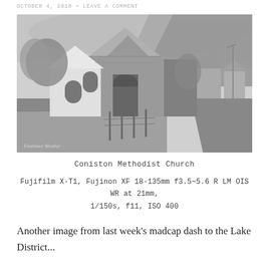OCTOBER 4, 2018 ~ LEAVE A COMMENT
[Figure (photo): Black and white photograph of Coniston Methodist Church, a stone Gothic-style church with pointed arched windows and doorway, set against hills with a road visible to the right. Watermark reads 'Freelance Weather' in bottom left.]
Coniston Methodist Church
Fujifilm X-T1, Fujinon XF 18-135mm f3.5~5.6 R LM OIS WR at 21mm,
1/150s, f11, ISO 400
Another image from last week's madcap dash to the Lake District...